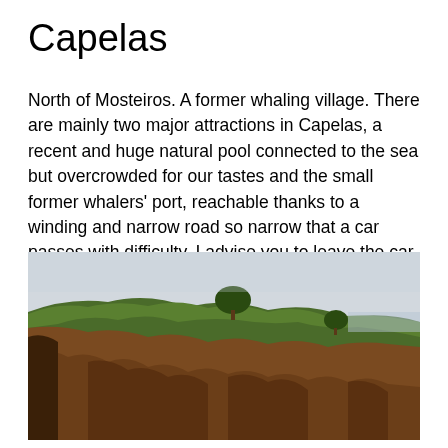Capelas
North of Mosteiros. A former whaling village. There are mainly two major attractions in Capelas, a recent and huge natural pool connected to the sea but overcrowded for our tastes and the small former whalers' port, reachable thanks to a winding and narrow road so narrow that a car passes with difficulty. I advise you to leave the car at the beginning of the descent and do it on foot, in some places you will have 10 cm of space on each side and if a car arrives in the opposite direction you can only start crying.
[Figure (photo): Coastal cliff with green grass on top and brown rocky volcanic rock face, with two trees visible on the cliff top against a pale grey sky, sea visible in the background.]